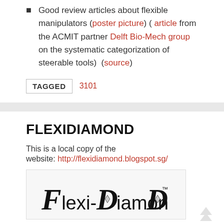Good review articles about flexible manipulators (poster picture) ( article from the ACMIT partner Delft Bio-Mech group on the systematic categorization of steerable tools)  (source)
TAGGED  3101
FLEXIDIAMOND
This is a local copy of the
website: http://flexidiamond.blogspot.sg/
[Figure (logo): Flexi-Diamond logo in stylized black text with diamond shapes]